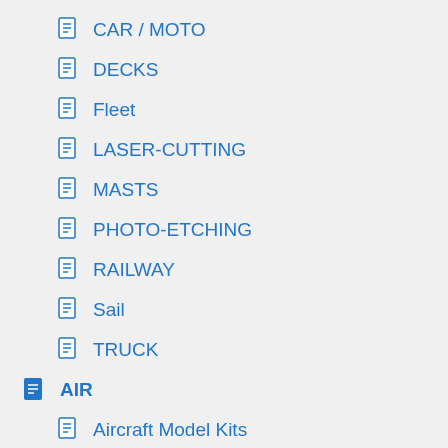CAR / MOTO
DECKS
Fleet
LASER-CUTTING
MASTS
PHOTO-ETCHING
RAILWAY
Sail
TRUCK
AIR
Aircraft Model Kits
Aircraft Upgrade Accessories
Armor
Armor Model Kits
Armor Upgrade Accessories